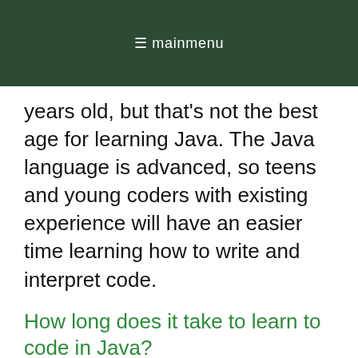≡ mainmenu
years old, but that's not the best age for learning Java. The Java language is advanced, so teens and young coders with existing experience will have an easier time learning how to write and interpret code.
How long does it take to learn to code in Java?
Coding is a lifelong learning process, but an immersive camp or course can make it easier for teens to learn new skills. As with any